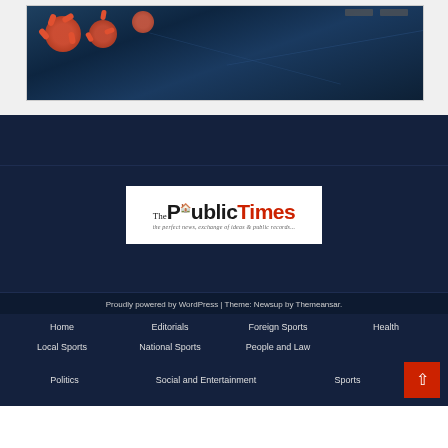[Figure (photo): Article card with a dark blue image showing virus/bacteria illustration at the top of the page]
[Figure (logo): The Public Times logo — 'The' small, 'Public' in bold dark, 'Times' in bold red, with a small green icon and italic tagline below]
Proudly powered by WordPress | Theme: Newsup by Themeansar.
Home
Editorials
Foreign Sports
Health
Local Sports
National Sports
People and Law
Politics
Social and Entertainment
Sports